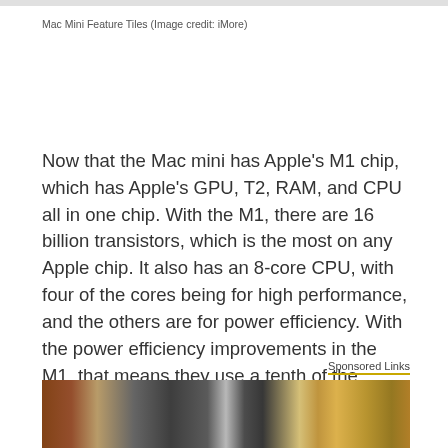Mac Mini Feature Tiles (Image credit: iMore)
Now that the Mac mini has Apple's M1 chip, which has Apple's GPU, T2, RAM, and CPU all in one chip. With the M1, there are 16 billion transistors, which is the most on any Apple chip. It also has an 8-core CPU, with four of the cores being for high performance, and the others are for power efficiency. With the power efficiency improvements in the M1, that means they use a tenth of the power as before.
Sponsored Links
[Figure (photo): Partial photo of a store aisle with shelves of products, dark background with colorful product packaging visible]